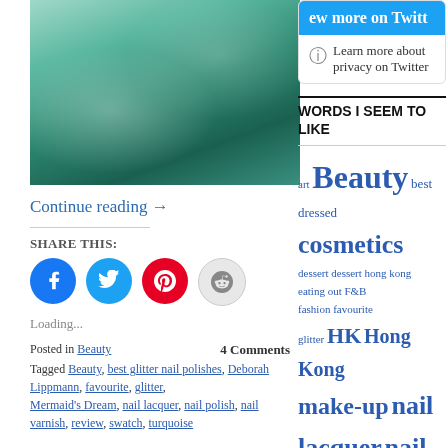[Figure (photo): Close-up photo of hand holding Deborah Lippmann nail polish bottle with teal/turquoise glitter nail polish on fingers]
Continue reading →
SHARE THIS:
[Figure (infographic): Four social share buttons: Facebook (blue circle), Twitter (light blue circle), Pinterest (red circle), Reddit (light grey circle)]
Loading...
Posted in Beauty   4 Comments
Tagged Beauty, best glitter nail polishes, Deborah Lippmann, favourite, glitter, Mermaid's Dream, nail lacquer, nail polish, nail varnish, review, swatch, turquoise
[Figure (screenshot): Twitter widget with blue header showing 'ew more on Twitt' and privacy info text below]
WORDS I SEEM TO LIKE
art Beauty best dressed cosmetics dessert dessert hong kong eating out F&B fashion favourite glitter HK Hong Kong make-up nail lacquer nail polish nail varnish